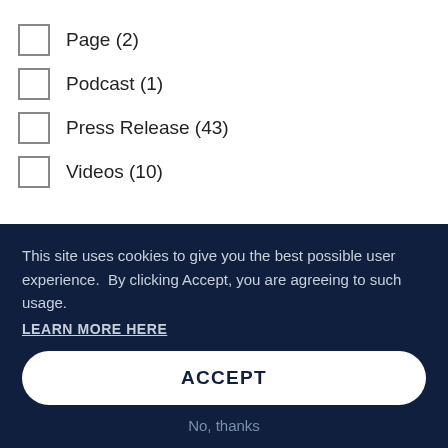Page (2)
Podcast (1)
Press Release (43)
Videos (10)
REGION
Africa (checked)
Asia Pacific
Europe
Israel
Latin America (checked)
Middle East
This site uses cookies to give you the best possible user experience.  By clicking Accept, you are agreeing to such usage.
LEARN MORE HERE
ACCEPT
No, thanks